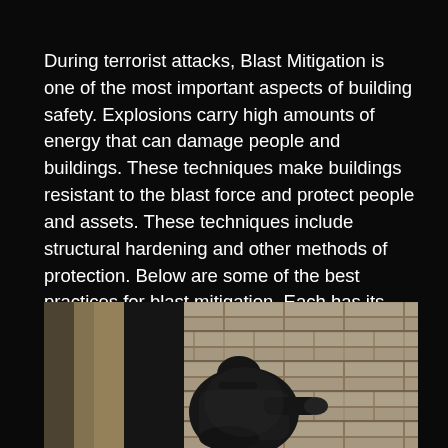During terrorist attacks, Blast Mitigation is one of the most important aspects of building safety. Explosions carry high amounts of energy that can damage people and buildings. These techniques make buildings resistant to the blast force and protect people and assets. These techniques include structural hardening and other methods of protection. Below are some of the best practices for blast mitigation. Each has its advantages and disadvantages. This article outlines some of them.
[Figure (photo): A person dressed in dark clothing and a cap, crouching or leaning near a stone or concrete block wall, viewed from the side.]